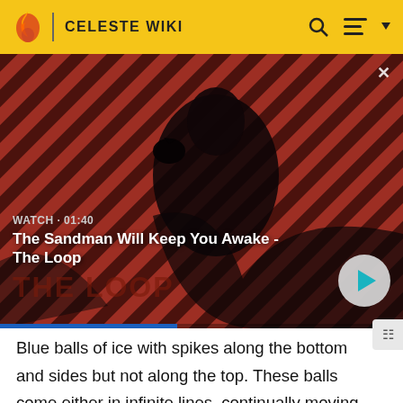CELESTE WIKI
[Figure (screenshot): Video thumbnail showing a dark figure (man in black cape with a raven on shoulder) against a red and dark diagonal-striped background. Text overlay reads 'WATCH • 01:40' and title 'The Sandman Will Keep You Awake - The Loop'. A play button is visible at the bottom right. A progress bar appears at the bottom.]
Blue balls of ice with spikes along the bottom and sides but not along the top. These balls come either in infinite lines, continually moving on a set path, or in circles, constantly rotating along the circular path. If the player